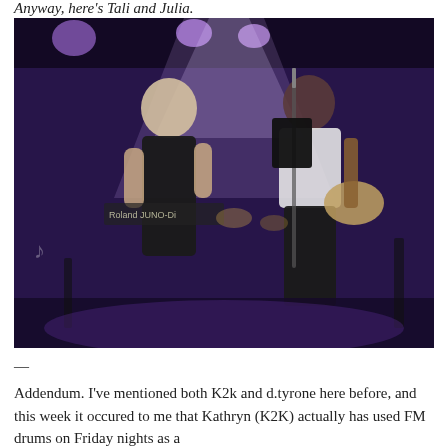Anyway, here's Tali and Julia.
[Figure (photo): Two women performing on stage under purple stage lighting. One on the left wears a black outfit and appears to be at a keyboard (Roland JUNO). One on the right wears a white and black outfit and plays guitar while singing into a microphone. A drummer is visible in the background.]
—
Addendum. I've mentioned both K2k and d.tyrone here before, and this week it occured to me that Kathryn (K2K) actually has used FM drums on Friday nights as a